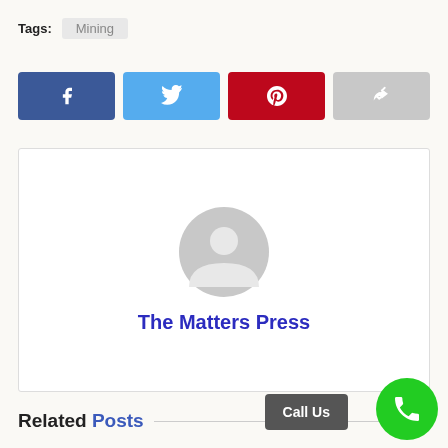Tags: Mining
[Figure (infographic): Row of four social share buttons: Facebook (blue), Twitter (light blue), Pinterest (red), Share (gray)]
[Figure (illustration): Author card with generic gray avatar and name 'The Matters Press' in dark blue]
Related Posts
Call Us